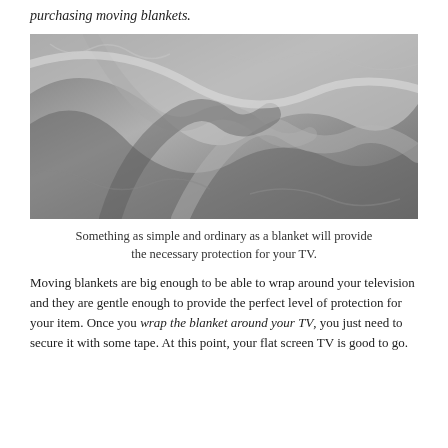purchasing moving blankets.
[Figure (photo): Close-up photograph of soft grey/silver moving blanket fabric, showing folded and draped texture.]
Something as simple and ordinary as a blanket will provide the necessary protection for your TV.
Moving blankets are big enough to be able to wrap around your television and they are gentle enough to provide the perfect level of protection for your item. Once you wrap the blanket around your TV, you just need to secure it with some tape. At this point, your flat screen TV is good to go.